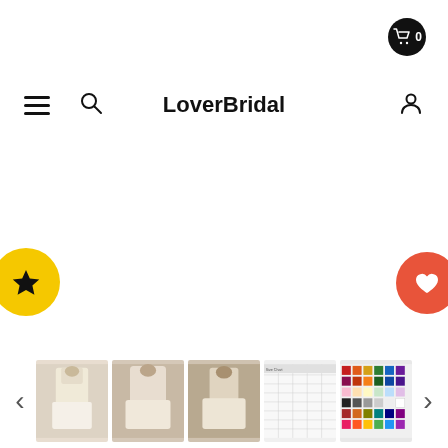[Figure (screenshot): Shopping cart icon with badge showing 0, top right corner]
[Figure (screenshot): Navigation bar with hamburger menu, search icon, LoverBridal brand name, and user profile icon]
LoverBridal
[Figure (other): Yellow circular button with star icon on left side]
[Figure (other): Red/coral circular button with heart icon on right side]
[Figure (other): Main product image area (white/blank) for wedding dress]
[Figure (screenshot): Thumbnail gallery row at bottom showing 5 product thumbnails: 3 wedding dress photos, 1 size chart, 1 color swatch chart, with left and right navigation arrows]